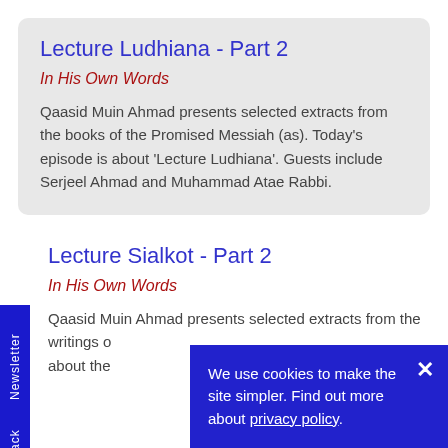Lecture Ludhiana - Part 2
In His Own Words
Qaasid Muin Ahmad presents selected extracts from the books of the Promised Messiah (as). Today's episode is about 'Lecture Ludhiana'. Guests include Serjeel Ahmad and Muhammad Atae Rabbi.
Lecture Sialkot - Part 2
In His Own Words
Qaasid Muin Ahmad presents selected extracts from the writings o... about the...
We use cookies to make the site simpler. Find out more about privacy policy.